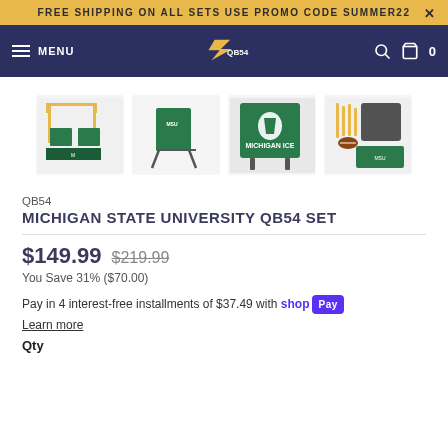FREE SHIPPING ON ALL SETS USE PROMO CODE SUMMER22
[Figure (screenshot): QB54 brand navigation bar with logo, menu, search, and cart icons]
[Figure (photo): Four product thumbnail images of Michigan State University QB54 Set showing chair set with goal posts, single folding chair, back of chair with MSU logo, and accessories/components]
QB54
MICHIGAN STATE UNIVERSITY QB54 SET
$149.99  $219.99
You Save 31% ($70.00)
Pay in 4 interest-free installments of $37.49 with shop Pay
Learn more
Qty